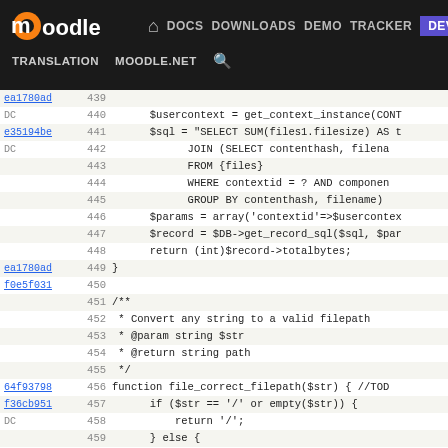Moodle DEV navigation bar with DOCS, DOWNLOADS, DEMO, TRACKER, DEV links and TRANSLATION, MOODLE.NET sub-links
[Figure (screenshot): Moodle developer site navigation bar with logo, nav links (DOCS, DOWNLOADS, DEMO, TRACKER, DEV highlighted in purple), and secondary nav (TRANSLATION, MOODLE.NET, search icon)]
Code viewer showing PHP source lines 439-465 with commit hashes, line numbers, and code for file storage functions including $usercontext, SQL query, file_correct_filepath function